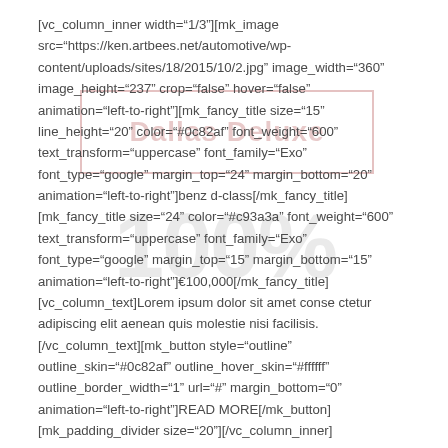[vc_column_inner width="1/3"][mk_image src="https://ken.artbees.net/automotive/wp-content/uploads/sites/18/2015/10/2.jpg" image_width="360" image_height="237" crop="false" hover="false" animation="left-to-right"][mk_fancy_title size="15" line_height="20" color="#0c82af" font_weight="600" text_transform="uppercase" font_family="Exo" font_type="google" margin_top="24" margin_bottom="20" animation="left-to-right"]benz d-class[/mk_fancy_title] [mk_fancy_title size="24" color="#c93a3a" font_weight="600" text_transform="uppercase" font_family="Exo" font_type="google" margin_top="15" margin_bottom="15" animation="left-to-right"]€100,000[/mk_fancy_title] [vc_column_text]Lorem ipsum dolor sit amet conse ctetur adipiscing elit aenean quis molestie nisi facilisis. [/vc_column_text][mk_button style="outline" outline_skin="#0c82af" outline_hover_skin="#ffffff" outline_border_width="1" url="#" margin_bottom="0" animation="left-to-right"]READ MORE[/mk_button] [mk_padding_divider size="20"][/vc_column_inner] [vc_column_inner width="1/3"][mk_image src="https://ken.artbees.net/automotive/wp-content/uploads/sites/18/2015/10/3.jpg" image_width="360"